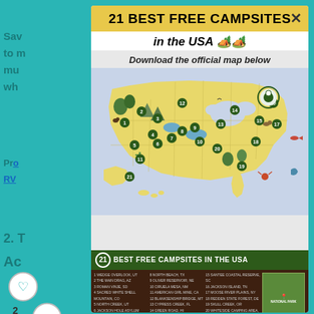Sa... to m... mu... wh...
21 BEST FREE CAMPSITES in the USA 🏕️
Download the official map below
[Figure (map): Illustrated map of the USA showing 21 best free campsites locations marked with numbers across the continental United States, with illustrated icons for each campsite type and a legend bar at the bottom listing all 21 campsite names.]
2.
Ac...